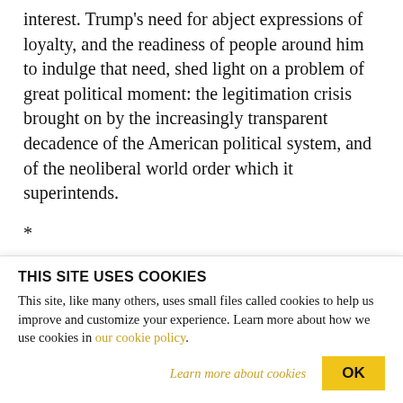interest. Trump's need for abject expressions of loyalty, and the readiness of people around him to indulge that need, shed light on a problem of great political moment: the legitimation crisis brought on by the increasingly transparent decadence of the American political system, and of the neoliberal world order which it superintends.
* *
The virtue of a thing, according to Plato, is that which makes it perform its function well; thus speed is the
THIS SITE USES COOKIES
This site, like many others, uses small files called cookies to help us improve and customize your experience. Learn more about how we use cookies in our cookie policy.
Learn more about cookies   OK